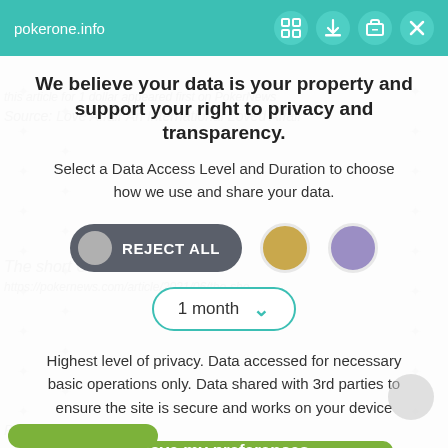pokerone.info
We believe your data is your property and support your right to privacy and transparency.
Select a Data Access Level and Duration to choose how we use and share your data.
[Figure (infographic): REJECT ALL button (dark grey pill with grey circle), a gold circle option, and a purple circle option side by side]
[Figure (infographic): Dropdown selector showing '1 month' with teal border and down chevron]
Highest level of privacy. Data accessed for necessary basic operations only. Data shared with 3rd parties to ensure the site is secure and works on your device
[Figure (infographic): Save my preferences button — wide green pill button]